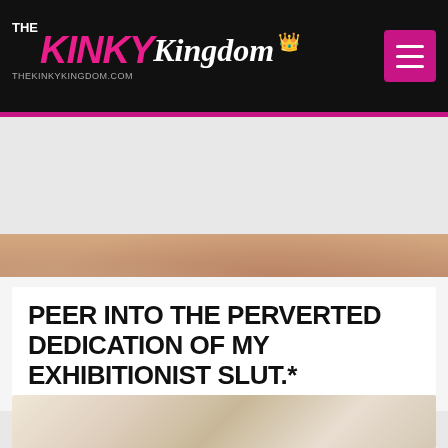THE KINKY Kingdom | THEKINKYKINGDOM.COM
[Figure (photo): Close-up photo of a woman in red lingerie]
PEER INTO THE PERVERTED DEDICATION OF MY EXHIBITIONIST SLUT.*
[Figure (photo): Close-up photo showing white lace lingerie with pink trim]